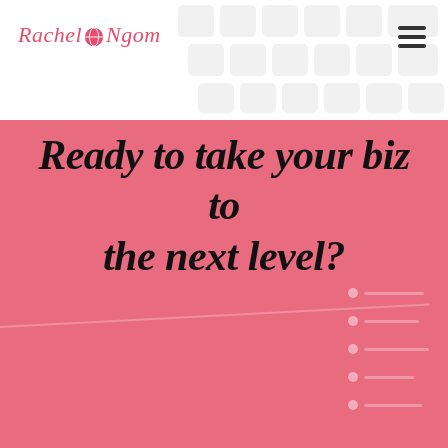Rachel Ngom
Ready to take your biz to the next level?